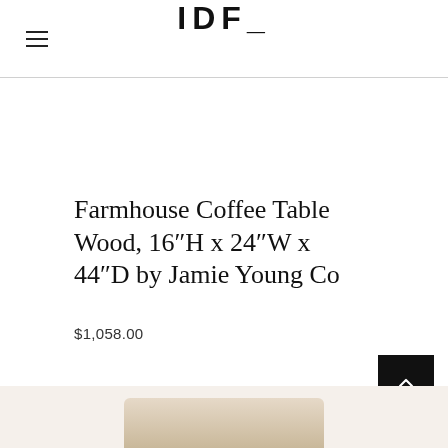IDF_
Farmhouse Coffee Table Wood, 16″H x 24″W x 44″D by Jamie Young Co
$1,058.00
[Figure (photo): Partial view of a farmhouse-style wooden coffee table at the bottom of the page]